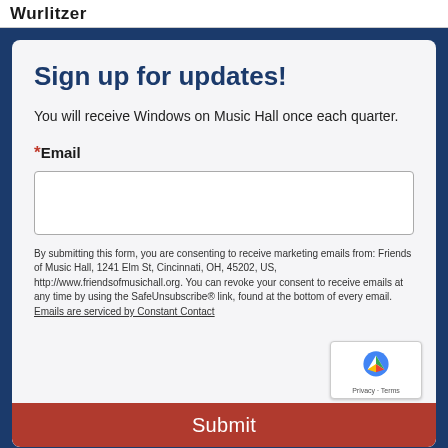Wurlitzer
Sign up for updates!
You will receive Windows on Music Hall once each quarter.
*Email
By submitting this form, you are consenting to receive marketing emails from: Friends of Music Hall, 1241 Elm St, Cincinnati, OH, 45202, US, http://www.friendsofmusichall.org. You can revoke your consent to receive emails at any time by using the SafeUnsubscribe® link, found at the bottom of every email. Emails are serviced by Constant Contact
Submit